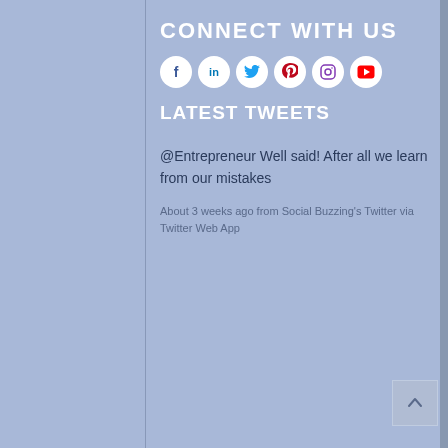CONNECT WITH US
[Figure (infographic): Row of social media icon circles: Facebook (f), LinkedIn (in), Twitter (bird), Pinterest (P), Instagram (camera), YouTube (play button)]
LATEST TWEETS
@Entrepreneur Well said! After all we learn from our mistakes
About 3 weeks ago from Social Buzzing's Twitter via Twitter Web App